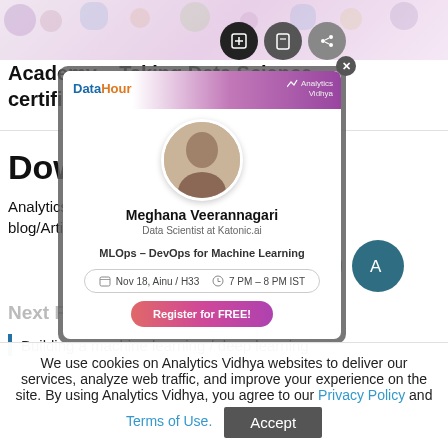[Figure (screenshot): Partial top background image with colorful icons/stickers]
Academy – Taking Data Science certification to new heights
Download
Analytics Vidhya App for the Latest blog/Article
[Figure (screenshot): Modal popup card showing Meghana Veerannagari, Data Scientist at Katonic.ai, with MLOps – DevOps for Machine Learning course event details and Register for FREE button]
Next Post
Building a machine learning / deep learning
We use cookies on Analytics Vidhya websites to deliver our services, analyze web traffic, and improve your experience on the site. By using Analytics Vidhya, you agree to our Privacy Policy and Terms of Use.
Accept